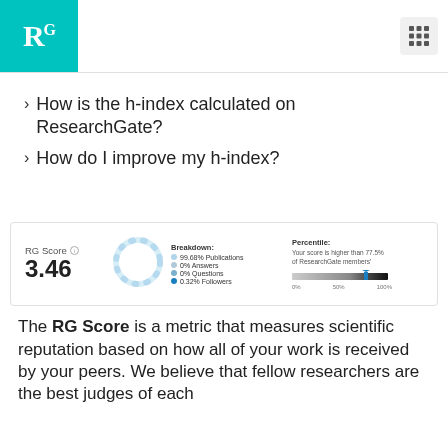RG (ResearchGate logo)
How is the h-index calculated on ResearchGate?
How do I improve my h-index?
[Figure (infographic): RG Score panel showing score of 3.46, a donut ring chart, a breakdown showing 99.68% Publications, 0% Answers, 0% Questions, 0.32% Followers, and a Percentile bar indicating score is higher than 77.5% of ResearchGate members]
The RG Score is a metric that measures scientific reputation based on how all of your work is received by your peers. We believe that fellow researchers are the best judges of each